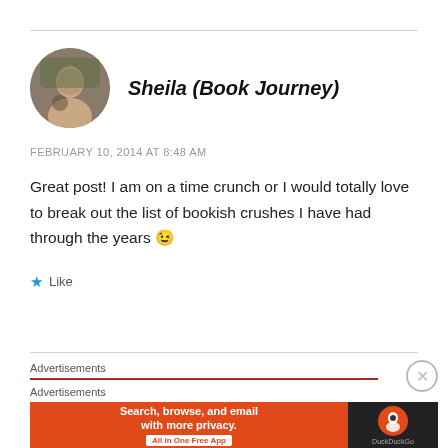Sheila (Book Journey)
FEBRUARY 10, 2014 AT 8:48 AM
Great post! I am on a time crunch or I would totally love to break out the list of bookish crushes I have had through the years 😉
Like
Advertisements
Advertisements
[Figure (infographic): DuckDuckGo advertisement banner: orange background with text 'Search, browse, and email with more privacy. All in One Free App' and DuckDuckGo logo on dark background on the right.]